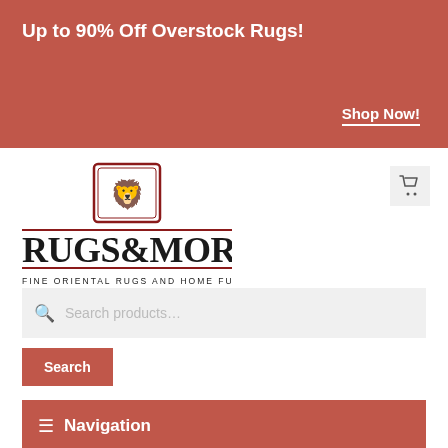Up to 90% Off Overstock Rugs! Shop Now!
[Figure (logo): Rugs & More - Fine Oriental Rugs and Home Furnishings logo with shield emblem]
Search products…
Search
Navigation
Home / New Arrivals / Tapestries / Bolivian Blanket